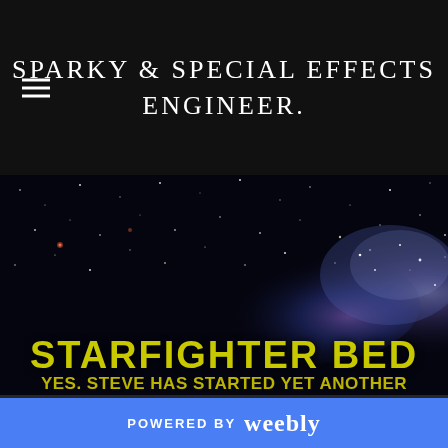SPARKY & SPECIAL EFFECTS ENGINEER.
[Figure (photo): Space/galaxy background image showing stars and nebula with dark background]
STARFIGHTER BED
YES. STEVE HAS STARTED YET ANOTHER LARGE SCALE PROJECT
POWERED BY weebly